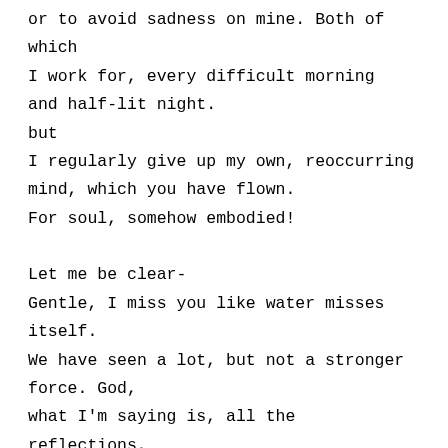or to avoid sadness on mine. Both of which
I work for, every difficult morning
and half-lit night.
but
I regularly give up my own, reoccurring
mind, which you have flown.
For soul, somehow embodied!

Let me be clear-
Gentle, I miss you like water misses
itself.
We have seen a lot, but not a stronger
force. God,
what I'm saying is, all the reflections,
that lead nowhere.
Don't take you away.